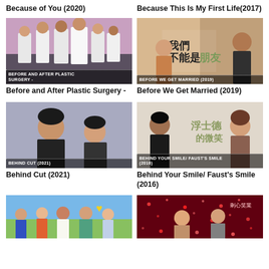Because of You (2020)
Because This Is My First Life(2017)
[Figure (photo): Group photo from Before and After Plastic Surgery TV show, people in white coats in a salon setting]
[Figure (photo): Promotional image for Before We Get Married 2019, couple facing each other with Chinese text]
Before and After Plastic Surgery -
Before We Get Married (2019)
[Figure (photo): Promotional image for Behind Cut 2021, two young men posing together]
[Figure (photo): Promotional image for Behind Your Smile / Faust's Smile 2016, man and woman with Chinese text]
Behind Cut (2021)
Behind Your Smile/ Faust's Smile (2016)
[Figure (photo): Group of young people outdoors, colorful casual clothing]
[Figure (photo): Indoor scene with people at a party or event with red sparkling lights]